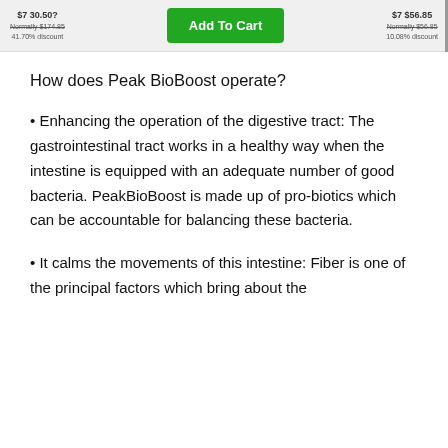[Figure (screenshot): Top banner showing pricing options with an 'Add To Cart' button in green. Left side shows $7 30.50? price, Normally $174.85, 41.70% discount. Right side shows $7 $56.85, Normally $56.85, 10.08% discount.]
How does Peak BioBoost operate?
• Enhancing the operation of the digestive tract: The gastrointestinal tract works in a healthy way when the intestine is equipped with an adequate number of good bacteria. PeakBioBoost is made up of pro-biotics which can be accountable for balancing these bacteria.
• It calms the movements of this intestine: Fiber is one of the principal factors which bring about the